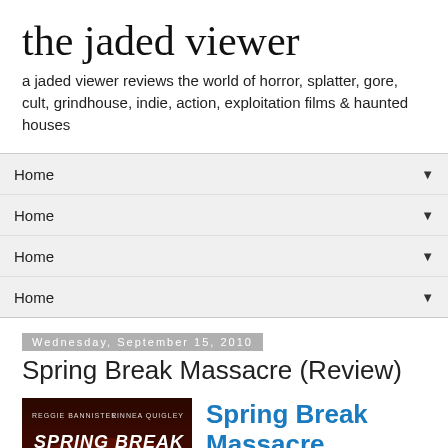the jaded viewer
a jaded viewer reviews the world of horror, splatter, gore, cult, grindhouse, indie, action, exploitation films & haunted houses
Home ▼
Home ▼
Home ▼
Home ▼
Wednesday, September 15, 2010
Spring Break Massacre (Review)
[Figure (photo): Movie poster for Spring Break Massacre featuring text 'REGGIE BANNISTER LINNEA QUIGLEY SPRING BREAK' on a dark red background]
Spring Break Massacre